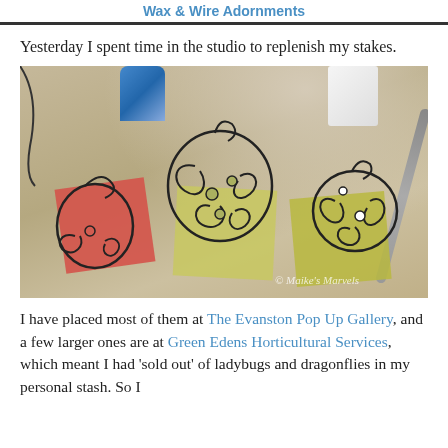Wax & Wire Adornments
Yesterday I spent time in the studio to replenish my stakes.
[Figure (photo): Photo of wire art pendants/ornaments on colorful fabric swatches on a work table. Three wire-wrapped pieces with beads are displayed on red/pink floral fabric and yellow-green fabric squares. Tools and craft supplies visible in background. Watermark reads '© Maike's Marvels']
I have placed most of them at The Evanston Pop Up Gallery, and a few larger ones are at Green Edens Horticultural Services, which meant I had 'sold out' of ladybugs and dragonflies in my personal stash. So I